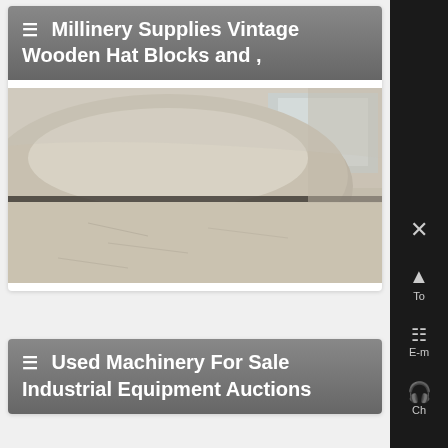≡ Millinery Supplies Vintage Wooden Hat Blocks and ,
[Figure (photo): Close-up photograph of a large round concrete or stone hat block form resting on a dusty floor, with walls and a window visible in the background]
≡ Used Machinery For Sale Industrial Equipment Auctions